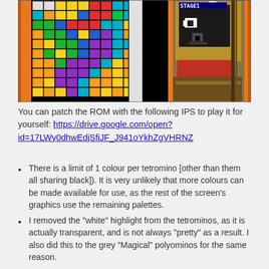[Figure (screenshot): A retro video game screenshot showing a colorful grid of tetromino pieces on the left side with an orange border, and a pixel-art character (cartoon cat/animal) on the right side against a brown/gold background.]
You can patch the ROM with the following IPS to play it for yourself: https://drive.google.com/open?id=17LWy0dhwEdjSfiJF_J941oYkhZgVHRNZ
There is a limit of 1 colour per tetromino [other than them all sharing black]). It is very unlikely that more colours can be made available for use, as the rest of the screen's graphics use the remaining palettes.
I removed the "white" highlight from the tetrominos, as it is actually transparent, and is not always "pretty" as a result. I also did this to the grey "Magical" polyominos for the same reason.